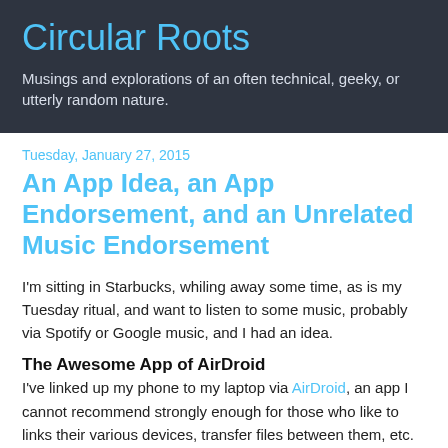Circular Roots
Musings and explorations of an often technical, geeky, or utterly random nature.
Tuesday, January 27, 2015
An App Idea, an App Endorsement, and an Unrelated Music Endorsement
I'm sitting in Starbucks, whiling away some time, as is my Tuesday ritual, and want to listen to some music, probably via Spotify or Google music, and I had an idea.
The Awesome App of AirDroid
I've linked up my phone to my laptop via AirDroid, an app I cannot recommend strongly enough for those who like to links their various devices, transfer files between them, etc.